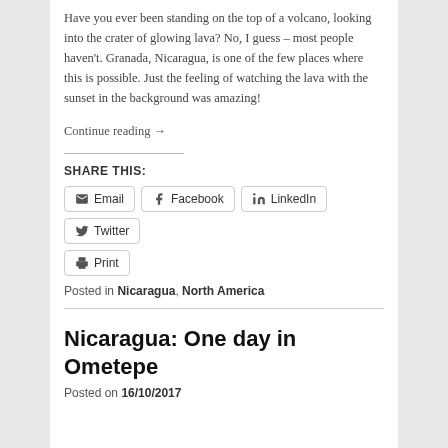Have you ever been standing on the top of a volcano, looking into the crater of glowing lava? No, I guess – most people haven't. Granada, Nicaragua, is one of the few places where this is possible. Just the feeling of watching the lava with the sunset in the background was amazing!
Continue reading →
SHARE THIS:
Email | Facebook | LinkedIn | Twitter | Print
Posted in Nicaragua, North America
Nicaragua: One day in Ometepe
Posted on 16/10/2017